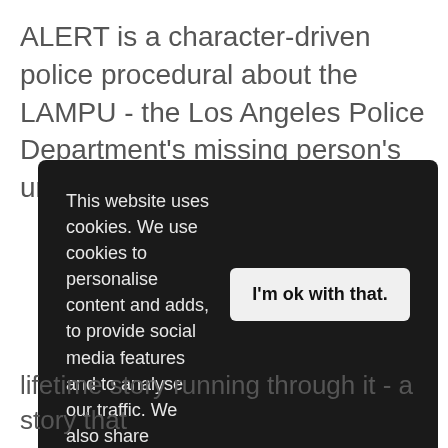ALERT is a character-driven police procedural about the LAMPU - the Los Angeles Police Department's missing person's unit. When police
[Figure (screenshot): Cookie consent overlay on a dark background with text about cookie usage and an 'I'm ok with that.' button]
lifetime story running through it - a story that